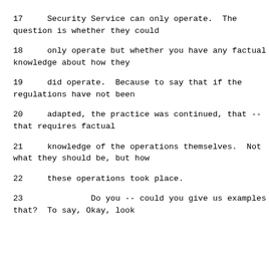17     Security Service can only operate.  The question is whether they could
18     only operate but whether you have any factual knowledge about how they
19     did operate.  Because to say that if the regulations have not been
20     adapted, the practice was continued, that -- that requires factual
21     knowledge of the operations themselves.  Not what they should be, but how
22     these operations took place.
23              Do you -- could you give us examples of that?  To say, Okay, look